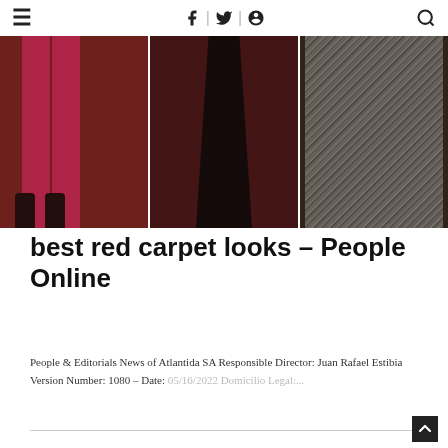≡  f | 𝕥 | ⊕  🔍
[Figure (photo): Three-panel photo strip showing red carpet fashion looks: left panel shows person in pink/magenta outfit with sneakers, center panel shows person in black gown, right panel shows person in silver/metallic patterned dress, all on dark red carpet background]
best red carpet looks – People Online
People & Editorials News of Atlantida SA Responsible Director: Juan Rafael Estibia Version Number: 1080 – Date: 05/16/2022 Domicilio Legal:...